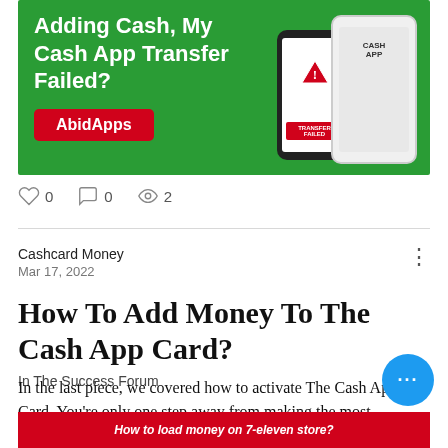[Figure (illustration): Advertisement banner with green background showing 'Adding Cash, My Cash App Transfer Failed?' text, a red button labeled 'AbidApps', and phone mockups]
0   0   2
Cashcard Money
Mar 17, 2022
How To Add Money To The Cash App Card?
In The Success Forum
In the last piece, we covered how to activate The Cash App Card. You're only one step away from making the most
[Figure (illustration): Red banner at bottom reading 'How to load money on 7-eleven store?']